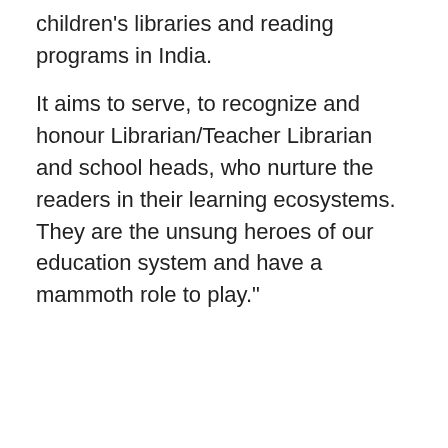children's libraries and reading programs in India.
It aims to serve, to recognize and honour Librarian/Teacher Librarian and school heads, who nurture the readers in their learning ecosystems. They are the unsung heroes of our education system and have a mammoth role to play."